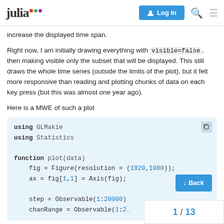julia [logo] | Log In | Search | Menu
increase the displayed time span.
Right now, I am initially drawing everything with visible=false, then making visible only the subset that will be displayed. This still draws the whole time series (outside the limits of the plot), but it felt more responsive than reading and plotting chunks of data on each key press (but this was almost one year ago).
Here is a MWE of such a plot
[Figure (screenshot): Code block showing Julia code using GLMakie and Statistics, defining a plot function with Figure, Axis, Observable declarations. Contains copy icon.]
1 / 13